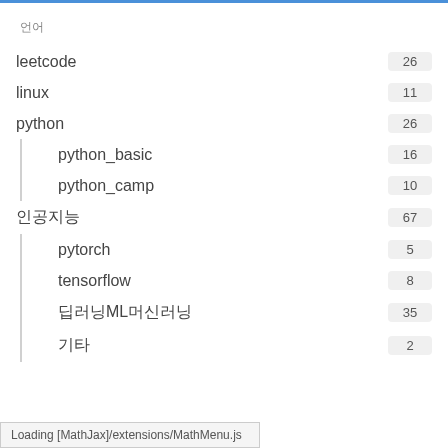언어
leetcode  26
linux  11
python  26
python_basic  16
python_camp  10
인공지능  67
pytorch  5
tensorflow  8
딥러닝ML머신러닝  35
기타  2
Loading [MathJax]/extensions/MathMenu.js